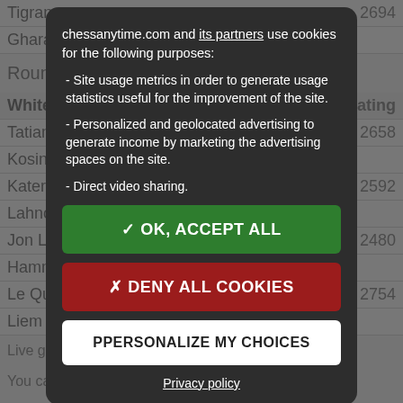chessanytime.com and its partners use cookies for the following purposes:
- Site usage metrics in order to generate usage statistics useful for the improvement of the site.
- Personalized and geolocated advertising to generate income by marketing the advertising spaces on the site.
- Direct video sharing.
✓ OK, ACCEPT ALL
✗ DENY ALL COOKIES
PPERSONALIZE MY CHOICES
Privacy policy